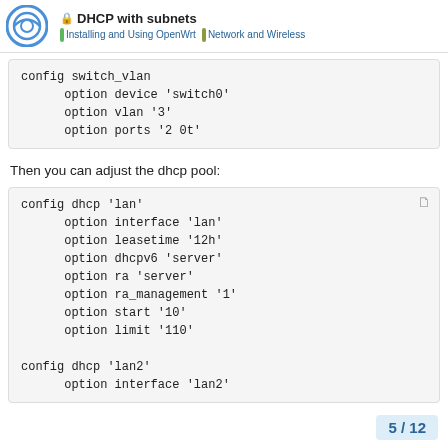DHCP with subnets | Installing and Using OpenWrt | Network and Wireless
config switch_vlan
    option device 'switch0'
    option vlan '3'
    option ports '2 0t'
Then you can adjust the dhcp pool:
config dhcp 'lan'
    option interface 'lan'
    option leasetime '12h'
    option dhcpv6 'server'
    option ra 'server'
    option ra_management '1'
    option start '10'
    option limit '110'

config dhcp 'lan2'
    option interface 'lan2'
5 / 12